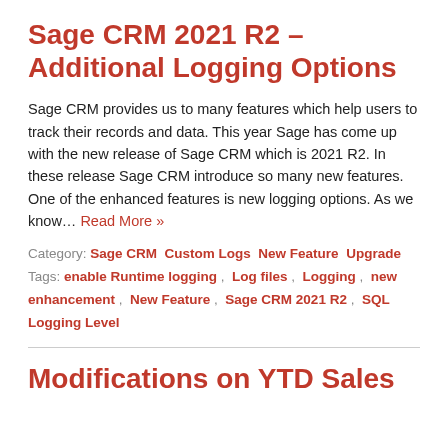Sage CRM 2021 R2 – Additional Logging Options
Sage CRM provides us to many features which help users to track their records and data. This year Sage has come up with the new release of Sage CRM which is 2021 R2. In these release Sage CRM introduce so many new features. One of the enhanced features is new logging options. As we know… Read More »
Category: Sage CRM  Custom Logs  New Feature  Upgrade
Tags: enable Runtime logging ,  Log files ,  Logging ,  new enhancement ,  New Feature ,  Sage CRM 2021 R2 ,  SQL Logging Level
Modifications on YTD Sales